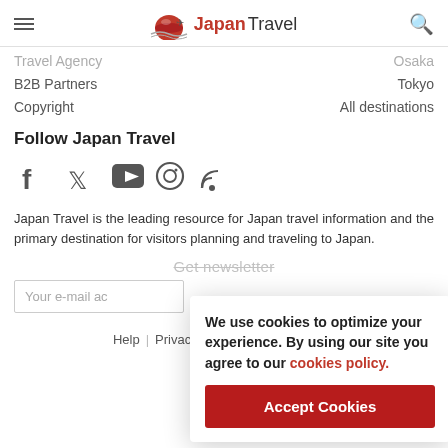Japan Travel
Travel Agency | Osaka
B2B Partners | Tokyo
Copyright | All destinations
Follow Japan Travel
[Figure (infographic): Social media icons: Facebook, Twitter, YouTube, Instagram, RSS]
Japan Travel is the leading resource for Japan travel information and the primary destination for visitors planning and traveling to Japan.
Get newsletter
Your e-mail address
We use cookies to optimize your experience. By using our site you agree to our cookies policy.
Accept Cookies
Help | Copyright |
Privacy